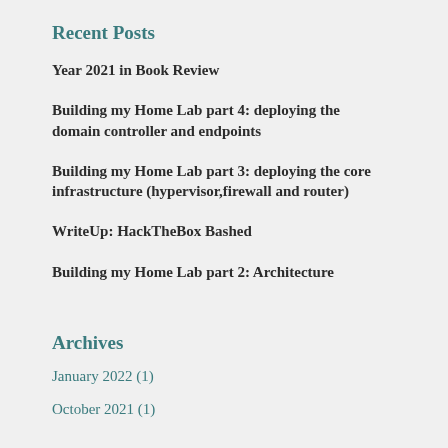Recent Posts
Year 2021 in Book Review
Building my Home Lab part 4: deploying the domain controller and endpoints
Building my Home Lab part 3: deploying the core infrastructure (hypervisor,firewall and router)
WriteUp: HackTheBox Bashed
Building my Home Lab part 2: Architecture
Archives
January 2022 (1)
October 2021 (1)